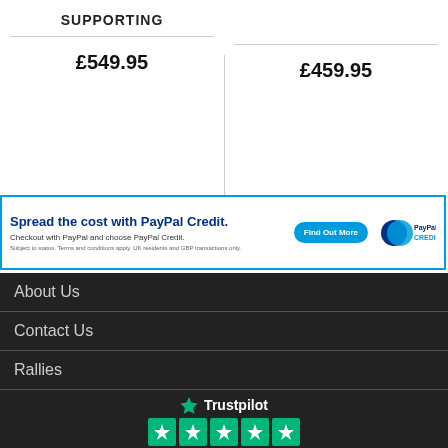SUPPORTING
£549.95
£459.95
Spread the cost with PayPal Credit. Checkout with PayPal and choose PayPal Credit. Subject to status. Terms and conditions apply. UK residents and GBP transactions only.
About Us
Contact Us
Rallies
[Figure (logo): Trustpilot logo with green star and five green star rating boxes]